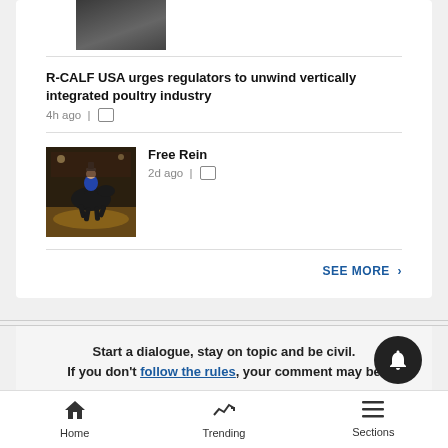[Figure (photo): Partial photo of a person in a suit, cropped at top]
R-CALF USA urges regulators to unwind vertically integrated poultry industry
4h ago | [comment icon]
[Figure (photo): Rodeo photo showing a rider on a bucking horse in an arena]
Free Rein
2d ago | [comment icon]
SEE MORE >
Start a dialogue, stay on topic and be civil. If you don't follow the rules, your comment may be
Home   Trending   Sections